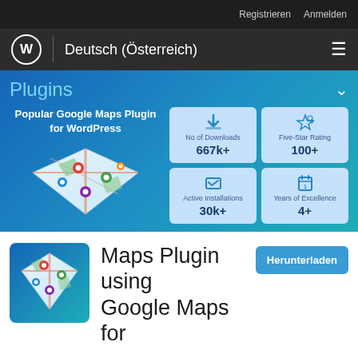Registrieren   Anmelden
WP | Deutsch (Österreich)
Plugins
[Figure (infographic): Popular Google Maps Plugin for WordPress banner with map illustration and stats: No of Downloads 667k+, Five-Star Rating 100+, Active Installations 30k+, Years of Excellence 4+]
[Figure (illustration): Maps Plugin icon showing an isometric map with location pins]
Maps Plugin using Google Maps for